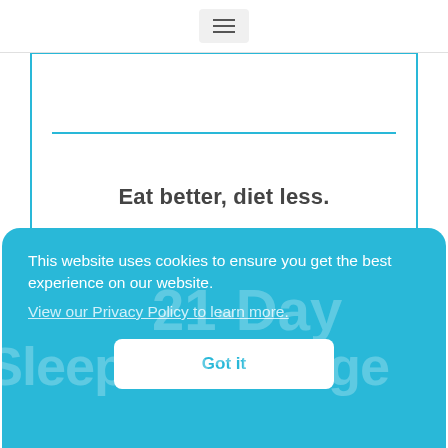☰
Eat better, diet less.
Read More
This website uses cookies to ensure you get the best experience on our website.
View our Privacy Policy to learn more.
Got it
21-Day Sleep Challenge